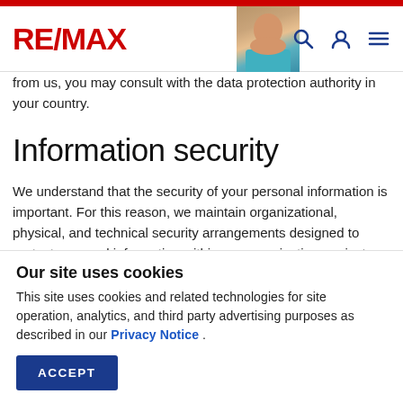RE/MAX
from us, you may consult with the data protection authority in your country.
Information security
We understand that the security of your personal information is important. For this reason, we maintain organizational, physical, and technical security arrangements designed to protect personal information within our organization against
Our site uses cookies
This site uses cookies and related technologies for site operation, analytics, and third party advertising purposes as described in our Privacy Notice .
ACCEPT